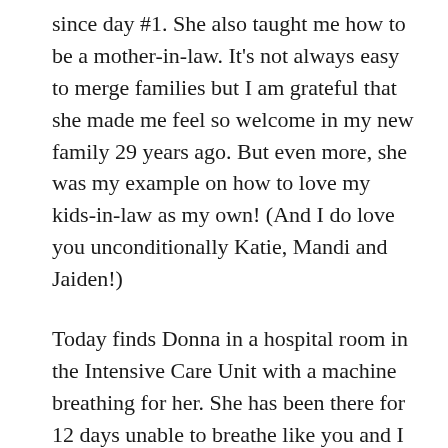since day #1. She also taught me how to be a mother-in-law. It's not always easy to merge families but I am grateful that she made me feel so welcome in my new family 29 years ago. But even more, she was my example on how to love my kids-in-law as my own! (And I do love you unconditionally Katie, Mandi and Jaiden!)
Today finds Donna in a hospital room in the Intensive Care Unit with a machine breathing for her. She has been there for 12 days unable to breathe like you and I are so naturally doing. Starting with pneumonia, damage was done to her lungs and she needs an intubation tube and sedation so she can rest her weak and tired lungs while she sleeps. Before she was intubated, she wrote my father-in-law (Norm) a